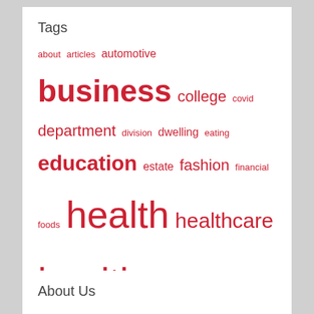Tags
about articles automotive business college covid department division dwelling eating education estate fashion financial foods health healthcare healthy house ideas improvement india information institute insurance international journal latest leisure lifestyle market meals medical newest online plans policy recipes residing school small technology travel womens world
About Us